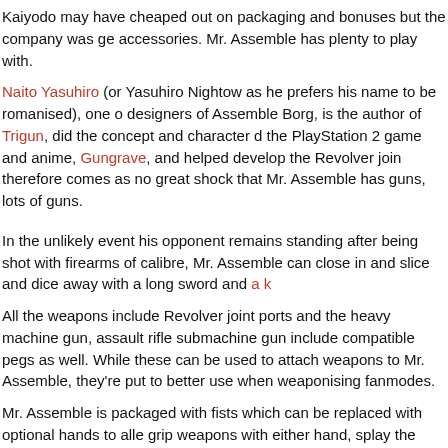Kaiyodo may have cheaped out on packaging and bonuses but the company was ge accessories. Mr. Assemble has plenty to play with.
Naito Yasuhiro (or Yasuhiro Nightow as he prefers his name to be romanised), one o designers of Assemble Borg, is the author of Trigun, did the concept and character d the PlayStation 2 game and anime, Gungrave, and helped develop the Revolver join therefore comes as no great shock that Mr. Assemble has guns, lots of guns.
In the unlikely event his opponent remains standing after being shot with firearms of calibre, Mr. Assemble can close in and slice and dice away with a long sword and a k
All the weapons include Revolver joint ports and the heavy machine gun, assault rifle submachine gun include compatible pegs as well. While these can be used to attach weapons to Mr. Assemble, they're put to better use when weaponising fanmodes.
Mr. Assemble is packaged with fists which can be replaced with optional hands to alle grip weapons with either hand, splay the fingers of his left hand out, prepare to grasp with either hand or cattily do the “loser” hand signal with his right hand.
Aside from that, there are four Special Assemble Parts resembling mechanical armou can replace his arms or legs in various configurations. With these attached, Mr. Asse much more impressive.